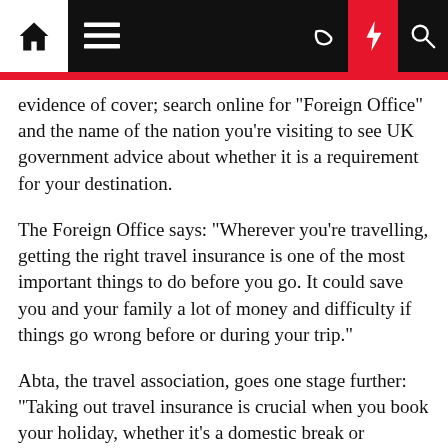Navigation bar with home, menu, dark mode, lightning, and search icons
evidence of cover; search online for "Foreign Office" and the name of the nation you're visiting to see UK government advice about whether it is a requirement for your destination.
The Foreign Office says: "Wherever you're travelling, getting the right travel insurance is one of the most important things to do before you go. It could save you and your family a lot of money and difficulty if things go wrong before or during your trip."
Abta, the travel association, goes one stage further: "Taking out travel insurance is crucial when you book your holiday, whether it's a domestic break or overseas."
But I contend that you might, after careful thought, rationally decide not to insure if you are travelling